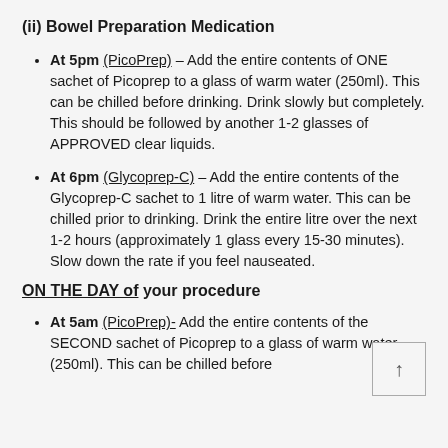(ii) Bowel Preparation Medication
At 5pm (PicoPrep) – Add the entire contents of ONE sachet of Picoprep to a glass of warm water (250ml). This can be chilled before drinking. Drink slowly but completely. This should be followed by another 1-2 glasses of APPROVED clear liquids.
At 6pm (Glycoprep-C) – Add the entire contents of the Glycoprep-C sachet to 1 litre of warm water. This can be chilled prior to drinking. Drink the entire litre over the next 1-2 hours (approximately 1 glass every 15-30 minutes). Slow down the rate if you feel nauseated.
ON THE DAY of your procedure
At 5am (PicoPrep)- Add the entire contents of the SECOND sachet of Picoprep to a glass of warm water (250ml). This can be chilled before